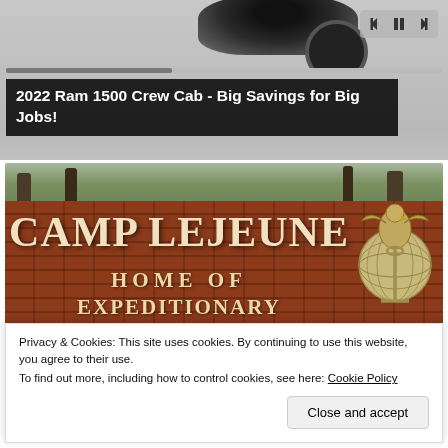[Figure (screenshot): Video player showing partial view of a truck, with playback controls (skip back, pause, skip forward) and a progress bar]
2022 Ram 1500 Crew Cab - Big Savings for Big Jobs!
[Figure (photo): Photograph of the Camp Lejeune entrance sign, a brick wall reading 'CAMP LEJEUNE / HOME OF / EXPEDITIONARY / FORCES IN READINESS' with USMC eagle globe and anchor emblem on the right, trees in the background]
Privacy & Cookies: This site uses cookies. By continuing to use this website, you agree to their use.
To find out more, including how to control cookies, see here: Cookie Policy
Close and accept